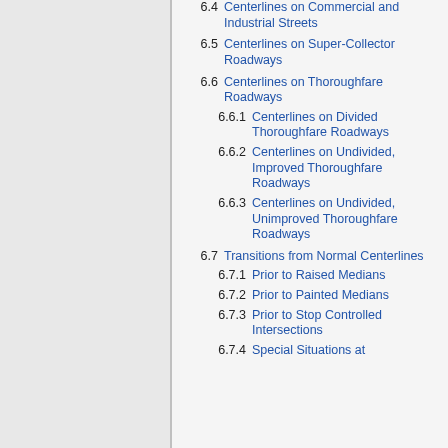6.4 Centerlines on Commercial and Industrial Streets
6.5 Centerlines on Super-Collector Roadways
6.6 Centerlines on Thoroughfare Roadways
6.6.1 Centerlines on Divided Thoroughfare Roadways
6.6.2 Centerlines on Undivided, Improved Thoroughfare Roadways
6.6.3 Centerlines on Undivided, Unimproved Thoroughfare Roadways
6.7 Transitions from Normal Centerlines
6.7.1 Prior to Raised Medians
6.7.2 Prior to Painted Medians
6.7.3 Prior to Stop Controlled Intersections
6.7.4 Special Situations at